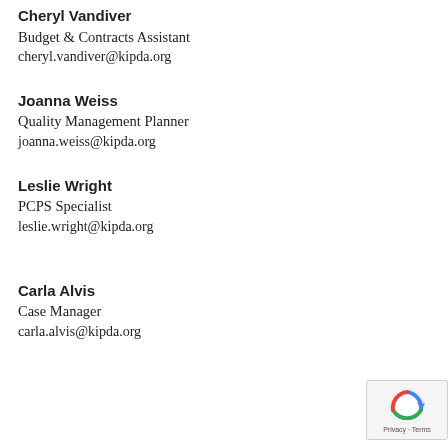Cheryl Vandiver
Budget & Contracts Assistant
cheryl.vandiver@kipda.org
Joanna Weiss
Quality Management Planner
joanna.weiss@kipda.org
Leslie Wright
PCPS Specialist
leslie.wright@kipda.org
Carla Alvis
Case Manager
carla.alvis@kipda.org